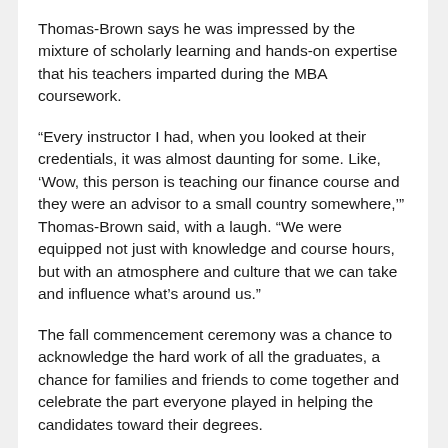Thomas-Brown says he was impressed by the mixture of scholarly learning and hands-on expertise that his teachers imparted during the MBA coursework.
“Every instructor I had, when you looked at their credentials, it was almost daunting for some. Like, ‘Wow, this person is teaching our finance course and they were an advisor to a small country somewhere,’” Thomas-Brown said, with a laugh. “We were equipped not just with knowledge and course hours, but with an atmosphere and culture that we can take and influence what’s around us.”
The fall commencement ceremony was a chance to acknowledge the hard work of all the graduates, a chance for families and friends to come together and celebrate the part everyone played in helping the candidates toward their degrees.